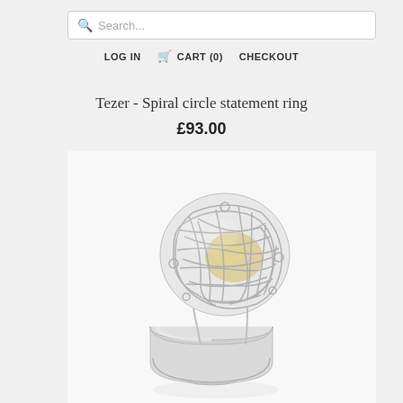Search...
LOG IN   CART (0)   CHECKOUT
Tezer - Spiral circle statement ring
£93.00
[Figure (photo): A silver spiral circle statement ring with a woven wire cage top enclosing a pale yellow/gold element, mounted on a wide flat silver band, photographed on a white background.]